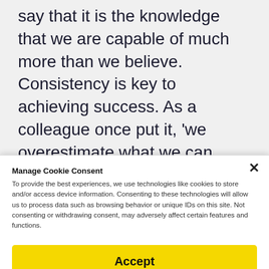say that it is the knowledge that we are capable of much more than we believe. Consistency is key to achieving success. As a colleague once put it, 'we overestimate what we can accomplish in one day and underestimate what we can accomplish in several'. With effort, progress is inevitable. Toastmasters may be an ideal structure for it, but it is the individual commitment that counts."
Manage Cookie Consent
To provide the best experiences, we use technologies like cookies to store and/or access device information. Consenting to these technologies will allow us to process data such as browsing behavior or unique IDs on this site. Not consenting or withdrawing consent, may adversely affect certain features and functions.
Accept